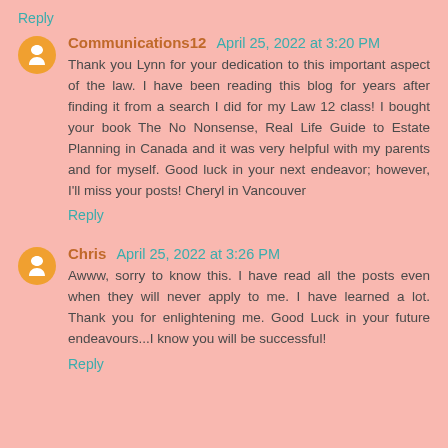Reply
Communications12 April 25, 2022 at 3:20 PM
Thank you Lynn for your dedication to this important aspect of the law. I have been reading this blog for years after finding it from a search I did for my Law 12 class! I bought your book The No Nonsense, Real Life Guide to Estate Planning in Canada and it was very helpful with my parents and for myself. Good luck in your next endeavor; however, I'll miss your posts! Cheryl in Vancouver
Reply
Chris April 25, 2022 at 3:26 PM
Awww, sorry to know this. I have read all the posts even when they will never apply to me. I have learned a lot. Thank you for enlightening me. Good Luck in your future endeavours...I know you will be successful!
Reply